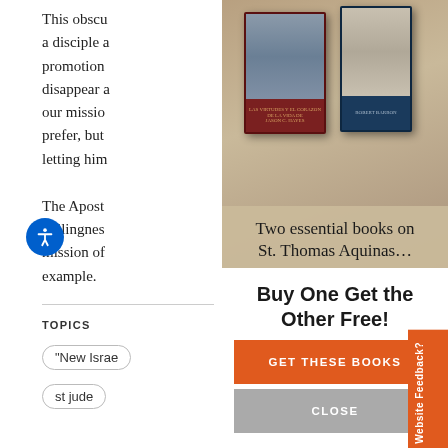This obscure... a disciple... promotion... disappear... our mission... prefer, but... letting him...
The Apostle... willingness... mission of... example.
TOPICS
"New Israel"
st jude
[Figure (illustration): Advertisement showing two books on St. Thomas Aquinas with tagline 'Two essential books on St. Thomas Aquinas...' and a 'Buy One Get the Other Free!' offer with GET THESE BOOKS and CLOSE buttons]
Buy One Get the Other Free!
GET THESE BOOKS
CLOSE